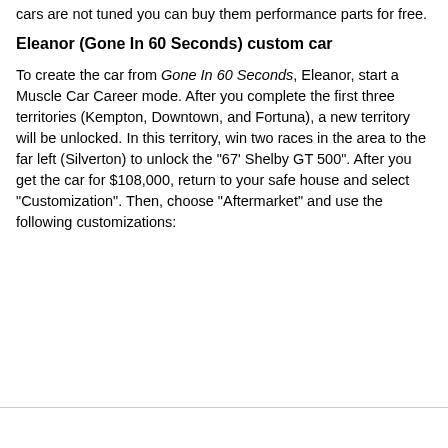cars are not tuned you can buy them performance parts for free.
Eleanor (Gone In 60 Seconds) custom car
To create the car from Gone In 60 Seconds, Eleanor, start a Muscle Car Career mode. After you complete the first three territories (Kempton, Downtown, and Fortuna), a new territory will be unlocked. In this territory, win two races in the area to the far left (Silverton) to unlock the "67' Shelby GT 500". After you get the car for $108,000, return to your safe house and select "Customization". Then, choose "Aftermarket" and use the following customizations: